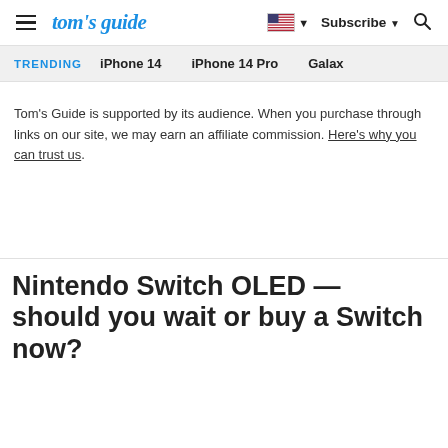tom's guide | Subscribe | Search
TRENDING   iPhone 14   iPhone 14 Pro   Galaxy
Tom's Guide is supported by its audience. When you purchase through links on our site, we may earn an affiliate commission. Here's why you can trust us.
Nintendo Switch OLED — should you wait or buy a Switch now?